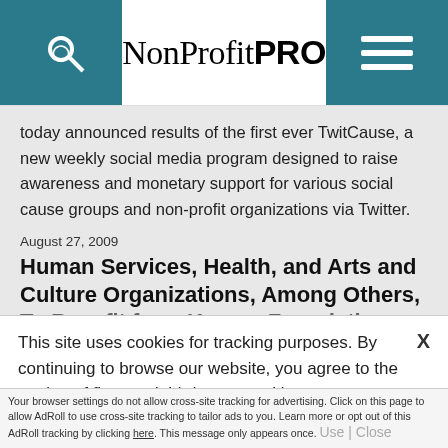NonProfit PRO
today announced results of the first ever TwitCause, a new weekly social media program designed to raise awareness and monetary support for various social cause groups and non-profit organizations via Twitter.
August 27, 2009
Human Services, Health, and Arts and Culture Organizations, Among Others, To Benefit from Kresge Foundation
This site uses cookies for tracking purposes. By continuing to browse our website, you agree to the storing of first- and third-party cookies on your device to enhance site navigation, analyze site usage, and assist in our marketing and
Accept and Close ✕
Your browser settings do not allow cross-site tracking for advertising. Click on this page to allow AdRoll to use cross-site tracking to tailor ads to you. Learn more or opt out of this AdRoll tracking by clicking here. This message only appears once.